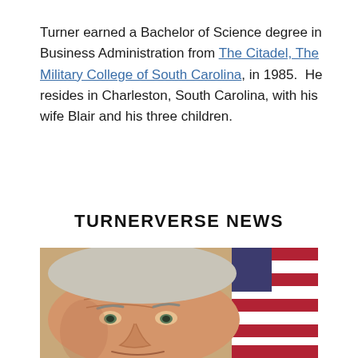Turner earned a Bachelor of Science degree in Business Administration from The Citadel, The Military College of South Carolina, in 1985.  He resides in Charleston, South Carolina, with his wife Blair and his three children.
TURNERVERSE NEWS
[Figure (photo): Close-up photo of an elderly man with grey/white hair, with an American flag visible in the background.]